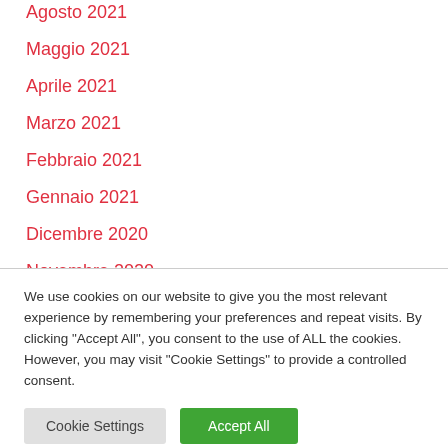Agosto 2021
Maggio 2021
Aprile 2021
Marzo 2021
Febbraio 2021
Gennaio 2021
Dicembre 2020
Novembre 2020
We use cookies on our website to give you the most relevant experience by remembering your preferences and repeat visits. By clicking "Accept All", you consent to the use of ALL the cookies. However, you may visit "Cookie Settings" to provide a controlled consent.
Cookie Settings | Accept All